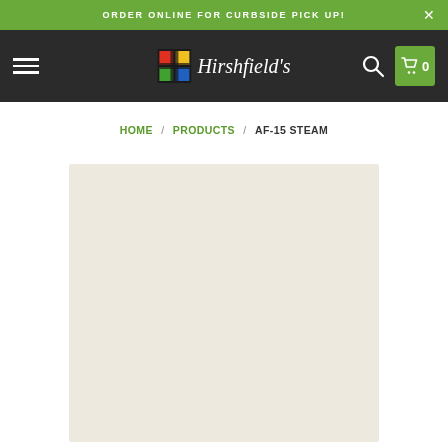ORDER ONLINE FOR CURBSIDE PICK UP!
[Figure (logo): Hirshfield's logo with colorful H icon and italic serif wordmark on dark navigation bar]
HOME / PRODUCTS / AF-15 STEAM
[Figure (photo): Paint color swatch showing AF-15 Steam, a warm off-white/cream color]